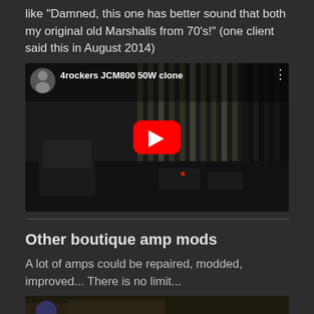like "Damned, this one has better sound that both my original old Marshalls from 70's!" (one client said this in August 2014)
[Figure (screenshot): YouTube video thumbnail for '4rockers JCM800 50W clone' showing a dark studio/rehearsal room with amplifiers and equipment, with a red YouTube play button in the center and a circular channel avatar in the top left.]
Other boutique amp mods
A lot of amps could be repaired, modded, improved... There is no limit...
[Figure (screenshot): Partial YouTube video thumbnail for 'DorD boutique amp 4rockers' showing a partially visible image with a person and some documents/papers.]